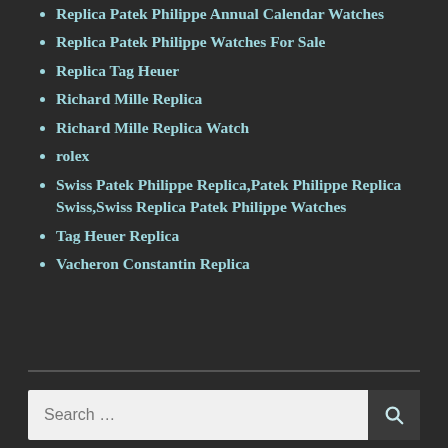Replica Patek Philippe Annual Calendar Watches
Replica Patek Philippe Watches For Sale
Replica Tag Heuer
Richard Mille Replica
Richard Mille Replica Watch
rolex
Swiss Patek Philippe Replica,Patek Philippe Replica Swiss,Swiss Replica Patek Philippe Watches
Tag Heuer Replica
Vacheron Constantin Replica